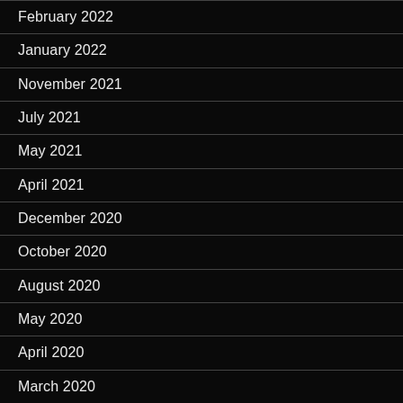February 2022
January 2022
November 2021
July 2021
May 2021
April 2021
December 2020
October 2020
August 2020
May 2020
April 2020
March 2020